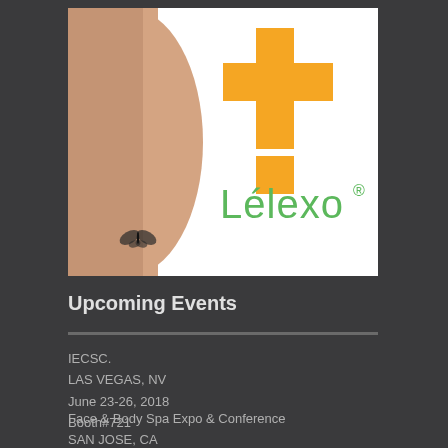[Figure (logo): Lélexo brand logo — orange plus-sign graphic above green 'Lélexo' text with registered trademark symbol, shown alongside a photo of a woman with a butterfly on her foot against a white background]
Upcoming Events
IECSC.
LAS VEGAS, NV
June 23-26, 2018
Booth#721
Face & Body Spa Expo & Conference
SAN JOSE, CA
August 26-28, 2018